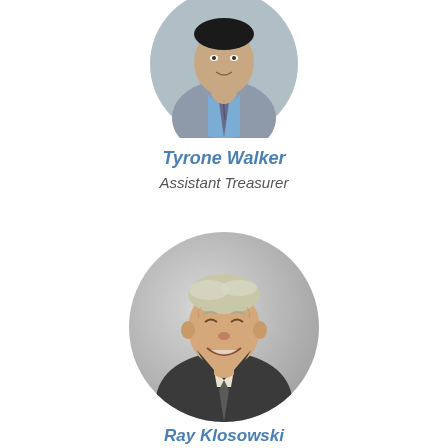[Figure (photo): Circular portrait photo of Tyrone Walker, a man in a suit and tie, partially cropped at top]
Tyrone Walker
Assistant Treasurer
[Figure (photo): Circular portrait photo of Ray Klosowski, an older man in a dark suit smiling]
Ray Klosowski
Commissioner